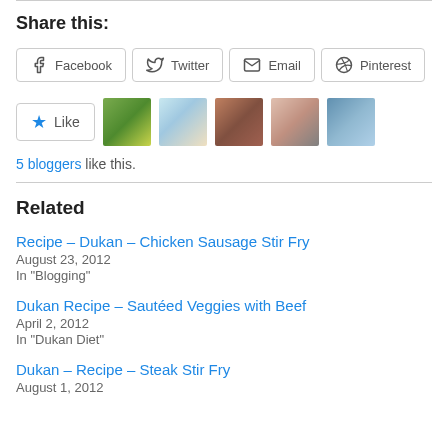Share this:
Facebook  Twitter  Email  Pinterest
[Figure (other): Like button with star icon and 5 blogger avatar thumbnails]
5 bloggers like this.
Related
Recipe – Dukan – Chicken Sausage Stir Fry
August 23, 2012
In "Blogging"
Dukan Recipe – Sautéed Veggies with Beef
April 2, 2012
In "Dukan Diet"
Dukan – Recipe – Steak Stir Fry
August 1, 2012